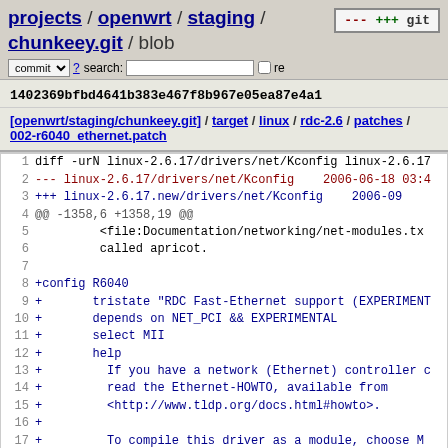projects / openwrt / staging / chunkeey.git / blob
1402369bfbd4641b383e467f8b967e05ea87e4a1
[openwrt/staging/chunkeey.git] / target / linux / rdc-2.6 / patches / 002-r6040_ethernet.patch
[Figure (screenshot): Git blob viewer showing diff of 002-r6040_ethernet.patch with line numbers 1-19 showing patch content adding R6040 ethernet driver config to Kconfig]